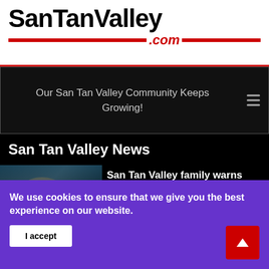SanTanValley.com
Our San Tan Valley Community Keeps Growing!
San Tan Valley News
[Figure (photo): Thumbnail photo of person for article preview]
San Tan Valley family warns against...
Aug 19, 2022  Hits: 3930
We use cookies to ensure that we give you the best experience on our website.
I accept